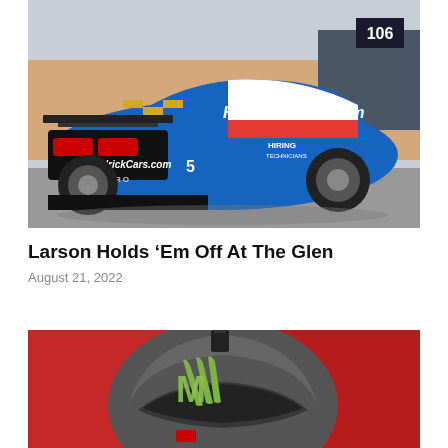[Figure (photo): Blue NASCAR Chevrolet Camaro #5 HendrickCars.com race car with 'HIRING TECHNICIANS' decal, rear three-quarter view, parked in pit area with crew members and spectators in background.]
Larson Holds ‘Em Off At The Glen
August 21, 2022
[Figure (photo): Racing helmet with Monster Energy logo on red background, gray and black helmet with large Monster Energy claw mark design.]